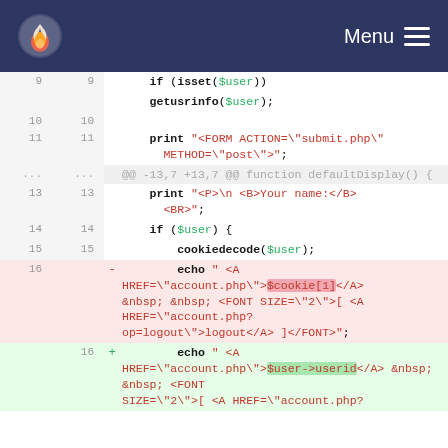Menu
[Figure (screenshot): Code diff view showing PHP source code with line numbers, removed lines highlighted in red/pink and added lines highlighted in green. Lines 9-15 shown as context, line 16 shown as removed (using $cookie[1]) and line 16 shown as added (using $user->userid).]